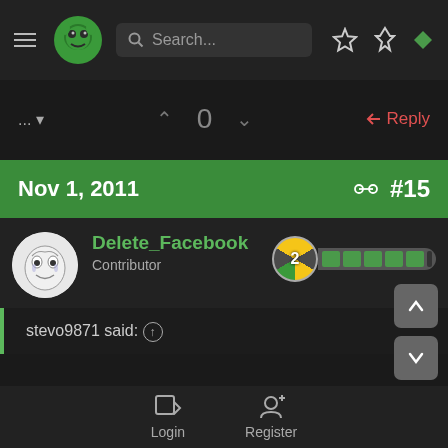Search...
0
Reply
Nov 1, 2011  #15
Delete_Facebook
Contributor
stevo9871 said: ↑
Login  Register